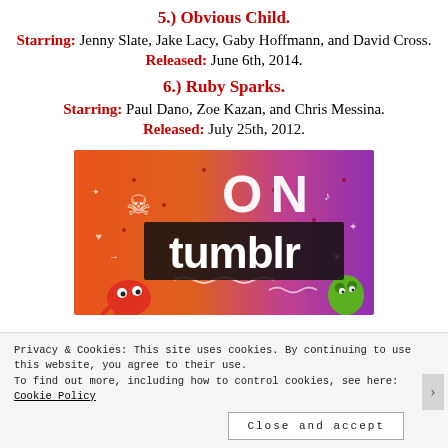5.) Obvious Child.
Starring: Jenny Slate, Jake Lacy, Gaby Hoffmann, and David Cross.
Released: June 6th, 2014.
6.) Ruby Sparks.
Starring: Paul Dano, Zoe Kazan, and Chris Messina.
Released: July 25th, 2012.
[Figure (photo): A colorful Tumblr promotional image with orange-to-purple gradient background, doodle illustrations, and bold text reading 'ON tumblr']
Privacy & Cookies: This site uses cookies. By continuing to use this website, you agree to their use.
To find out more, including how to control cookies, see here: Cookie Policy
Close and accept